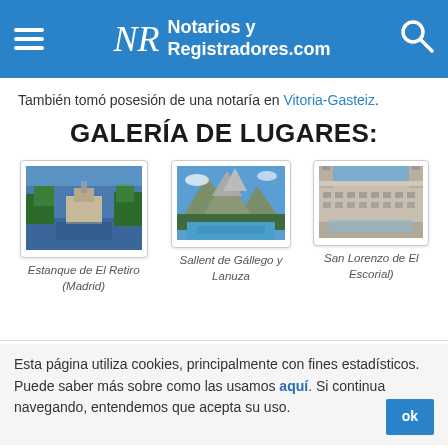Notarios y Registradores.com
También tomó posesión de una notaría en Vitoria-Gasteiz.
GALERÍA DE LUGARES:
[Figure (photo): Estanque de El Retiro (Madrid) - a lake with a monument in the background surrounded by trees]
Estanque de El Retiro (Madrid)
[Figure (photo): Sallent de Gállego y Lanuza - mountain landscape with a lake and rocky peaks]
Sallent de Gállego y Lanuza
[Figure (photo): San Lorenzo de El Escorial) - large historic royal monastery building with long facade]
San Lorenzo de El Escorial)
Esta página utiliza cookies, principalmente con fines estadísticos. Puede saber más sobre como las usamos aquí. Si continua navegando, entendemos que acepta su uso.